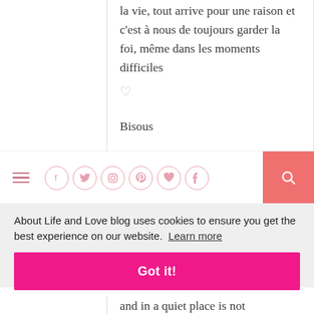la vie, tout arrive pour une raison et c'est à nous de toujours garder la foi, même dans les moments difficiles ♡
Bisous
Manon
[Figure (screenshot): Blog navigation bar with hamburger menu icon, social media icons (Facebook, Twitter, Instagram, Pinterest, heart/love, Tumblr) in pink circle outlines, and a salmon/coral search button on the right]
About Life and Love blog uses cookies to ensure you get the best experience on our website.  Learn more
Got it!
and in a quiet place is not